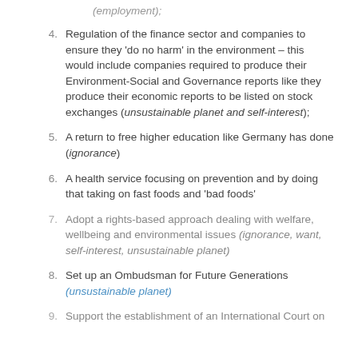(employment);
4. Regulation of the finance sector and companies to ensure they 'do no harm' in the environment – this would include companies required to produce their Environment-Social and Governance reports like they produce their economic reports to be listed on stock exchanges (unsustainable planet and self-interest);
5. A return to free higher education like Germany has done (ignorance)
6. A health service focusing on prevention and by doing that taking on fast foods and 'bad foods'
7. Adopt a rights-based approach dealing with welfare, wellbeing and environmental issues (ignorance, want, self-interest, unsustainable planet)
8. Set up an Ombudsman for Future Generations (unsustainable planet)
9. Support the establishment of an International Court on